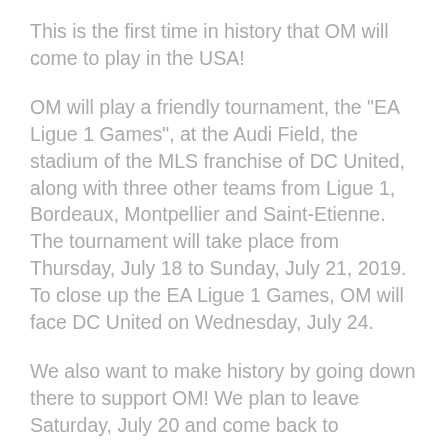This is the first time in history that OM will come to play in the USA!
OM will play a friendly tournament, the "EA Ligue 1 Games", at the Audi Field, the stadium of the MLS franchise of DC United, along with three other teams from Ligue 1, Bordeaux, Montpellier and Saint-Etienne. The tournament will take place from Thursday, July 18 to Sunday, July 21, 2019. To close up the EA Ligue 1 Games, OM will face DC United on Wednesday, July 24.
We also want to make history by going down there to support OM! We plan to leave Saturday, July 20 and come back to